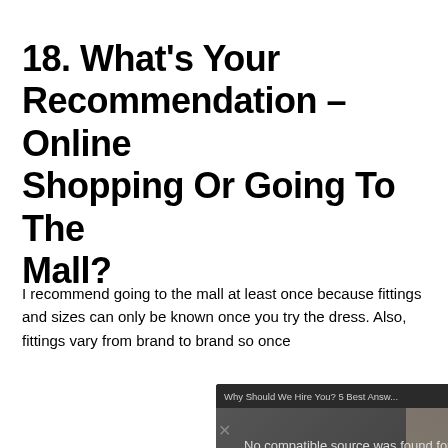18. What's Your Recommendation – Online Shopping Or Going To The Mall?
[Figure (screenshot): Video overlay popup showing 'Why Should We Hire You? 5 Best Answers' with a dark background, yellow bold text reading 'SHOULD WE HIRE YOU? 5 Best Answers', a close X button, and a message 'No compatible source was found for this media.']
I recommend going to the mall at least once because fittings and sizes can only be known once you try the dress. Also, fittings vary from brand to brand so once